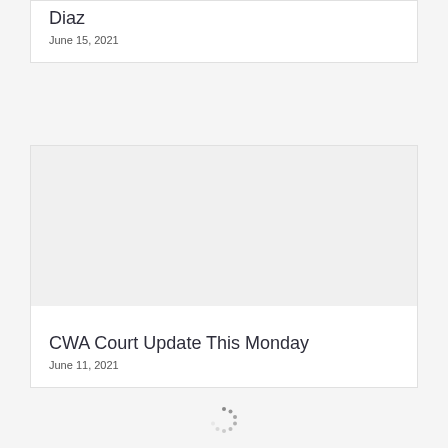Diaz
June 15, 2021
[Figure (photo): Empty white image placeholder inside card]
CWA Court Update This Monday
June 11, 2021
[Figure (other): Loading spinner dots]